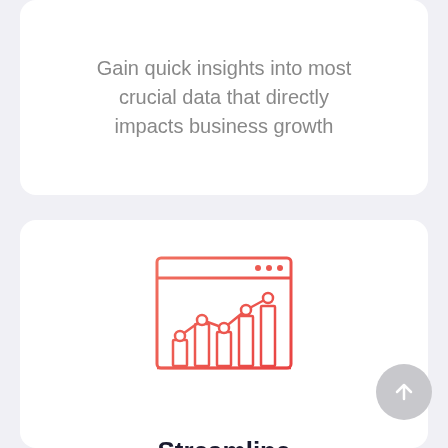Gain quick insights into most crucial data that directly impacts business growth
[Figure (illustration): Line chart with bar chart icon inside a browser/window frame outline, drawn in orange-red gradient stroke style]
Streamline Operations